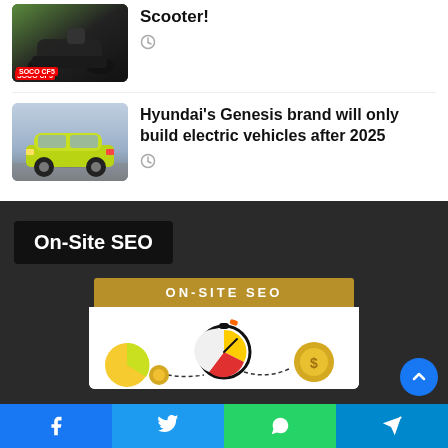[Figure (photo): Thumbnail image of a black electric scooter (SOCO CF5) on a green background]
Scooter!
[Figure (photo): Clock/time icon]
[Figure (photo): Thumbnail image of a yellow-green Hyundai Genesis car in a modern showroom]
Hyundai's Genesis brand will only build electric vehicles after 2025
[Figure (photo): Clock/time icon]
On-Site SEO
[Figure (infographic): On-Site SEO infographic with a stopwatch/timer graphic and colored pie charts, titled ON-SITE SEO on a golden banner]